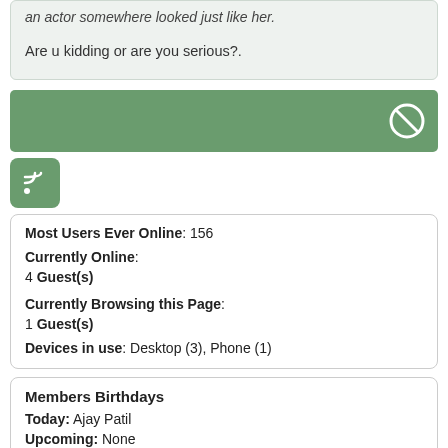an actor somewhere looked just like her.
Are u kidding or are you serious?.
[Figure (other): Green banner with a white ban/no icon circle on the right side]
[Figure (other): Green RSS feed icon button]
Most Users Ever Online: 156
Currently Online:
4 Guest(s)
Currently Browsing this Page:
1 Guest(s)
Devices in use: Desktop (3), Phone (1)
Members Birthdays
Today: Ajay Patil
Upcoming: None